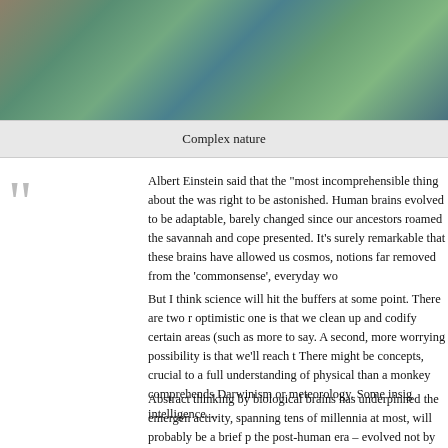[Figure (photo): Close-up photo of tropical or jungle plant leaves in blues and greens, complex natural foliage]
Complex nature
Albert Einstein said that the “most incomprehensible thing about the universe is that it is comprehensible”. He was right to be astonished. Human brains evolved to be adaptable, but they’re basically the same brains, barely changed since our ancestors roamed the savannah and coped with whatever their environment presented. It’s surely remarkable that these brains have allowed us to deduce the laws governing the cosmos, notions far removed from the ‘commonsense’, everyday world.
But I think science will hit the buffers at some point. There are two reasons for this. One relatively optimistic one is that we clean up and codify certain areas (such as nuclear and particle physics) and have no more to say. A second, more worrying possibility is that we’ll reach the limits of what human brains can grasp. There might be concepts, crucial to a full understanding of physical reality, that we aren’t able to grasp any more than a monkey comprehends Darwinism or meteorology. Some insights might have to await a post-human intelligence…
Abstract thinking by biological brains has underpinned the emergence of all science and culture. Such activity, spanning tens of millennia at most, will probably be a brief p the post-human era – evolved not by Darwinian selection but via ‘int future lies with organic post-humans or with electronic super-intellig would be unduly anthropocentric to believe that a full understanding